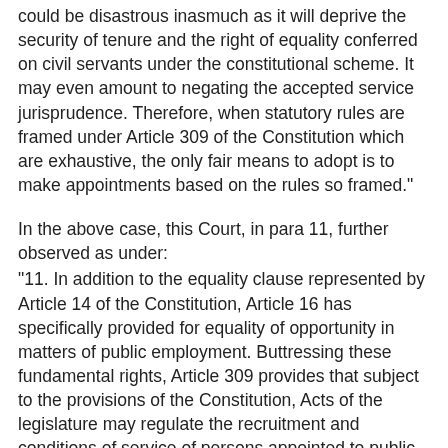could be disastrous inasmuch as it will deprive the security of tenure and the right of equality conferred on civil servants under the constitutional scheme. It may even amount to negating the accepted service jurisprudence. Therefore, when statutory rules are framed under Article 309 of the Constitution which are exhaustive, the only fair means to adopt is to make appointments based on the rules so framed."
In the above case, this Court, in para 11, further observed as under:
"11. In addition to the equality clause represented by Article 14 of the Constitution, Article 16 has specifically provided for equality of opportunity in matters of public employment. Buttressing these fundamental rights, Article 309 provides that subject to the provisions of the Constitution, Acts of the legislature may regulate the recruitment and conditions of service of persons appointed to public services and posts in connection with the affairs of the Union or of a State. In view of the interpretation placed on Article 12 of the Constitution by this Court, obviously, these principles also govern the instrumentalities that come within the purview of Article 12 of